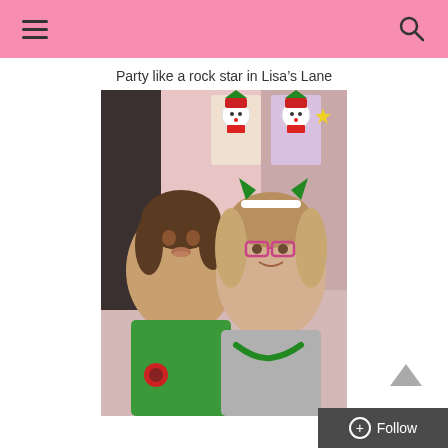≡  [hamburger menu]  [search icon]
Party like a rock star in Lisa's Lane
[Figure (photo): Two women posing for a selfie in a room decorated with Christmas snowman decorations. The woman on the left wears a green shirt and makes a silly duck face. The woman on the right has curly highlighted hair, wears glasses, a white headband with green elf ears, and a green garland necklace.]
Follow